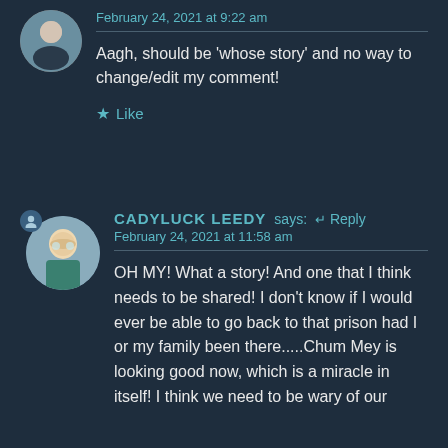February 24, 2021 at 9:22 am
Aagh, should be 'whose story' and no way to change/edit my comment!
Like
CADYLUCK LEEDY says: Reply
February 24, 2021 at 11:58 am
OH MY! What a story! And one that I think needs to be shared! I don't know if I would ever be able to go back to that prison had I or my family been there.....Chum Mey is looking good now, which is a miracle in itself! I think we need to be wary of our